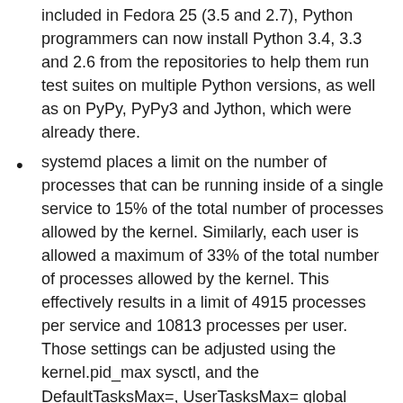included in Fedora 25 (3.5 and 2.7), Python programmers can now install Python 3.4, 3.3 and 2.6 from the repositories to help them run test suites on multiple Python versions, as well as on PyPy, PyPy3 and Jython, which were already there.
systemd places a limit on the number of processes that can be running inside of a single service to 15% of the total number of processes allowed by the kernel. Similarly, each user is allowed a maximum of 33% of the total number of processes allowed by the kernel. This effectively results in a limit of 4915 processes per service and 10813 processes per user. Those settings can be adjusted using the kernel.pid_max sysctl, and the DefaultTasksMax=, UserTasksMax= global settings, and the TasksMax= per-service setting.
systemd also places limits on the maximum number of user sessions and the maximum number of active inhibitors, see SessionsMax= and InhibitorsMax= settings in logind.conf.
Together, those limits add additional protections for the system in case of a (accidental or malicious) run-away